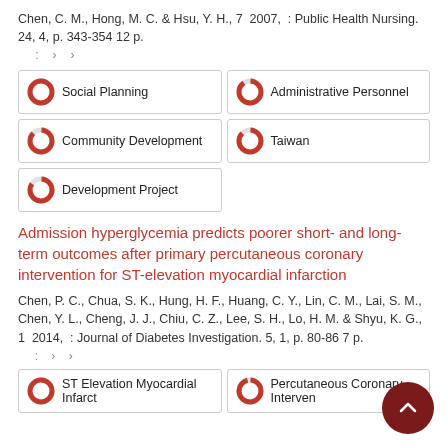Chen, C. M., Hong, M. C. & Hsu, Y. H., 7 2007, : Public Health Nursing. 24, 4, p. 343-354 12 p.
: > >
Social Planning
Administrative Personnel
Community Development
Taiwan
Development Project
Admission hyperglycemia predicts poorer short- and long-term outcomes after primary percutaneous coronary intervention for ST-elevation myocardial infarction
Chen, P. C., Chua, S. K., Hung, H. F., Huang, C. Y., Lin, C. M., Lai, S. M., Chen, Y. L., Cheng, J. J., Chiu, C. Z., Lee, S. H., Lo, H. M. & Shyu, K. G., 1 2014, : Journal of Diabetes Investigation. 5, 1, p. 80-86 7 p.
: > >
ST Elevation Myocardial Infarct
Percutaneous Coronary Interven